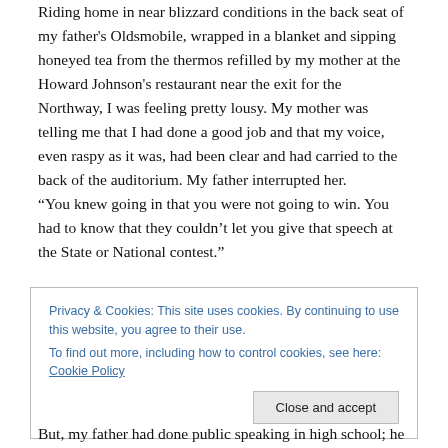Riding home in near blizzard conditions in the back seat of my father's Oldsmobile, wrapped in a blanket and sipping honeyed tea from the thermos refilled by my mother at the Howard Johnson's restaurant near the exit for the Northway, I was feeling pretty lousy. My mother was telling me that I had done a good job and that my voice, even raspy as it was, had been clear and had carried to the back of the auditorium. My father interrupted her. “You knew going in that you were not going to win. You had to know that they couldn’t let you give that speech at the State or National contest.”
Privacy & Cookies: This site uses cookies. By continuing to use this website, you agree to their use.
To find out more, including how to control cookies, see here: Cookie Policy
But, my father had done public speaking in high school; he